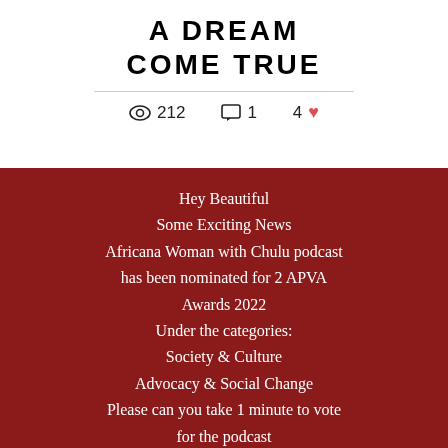A DREAM COME TRUE
212 views · 1 comment · 4 likes
Hey Beautiful
Some Exciting News
Africana Woman with Chulu podcast has been nominated for 2 APVA Awards 2022
Under the categories:
Society & Culture
Advocacy & Social Change
Please can you take 1 minute to vote for the podcast
Thank you so much.
VOTE
Close